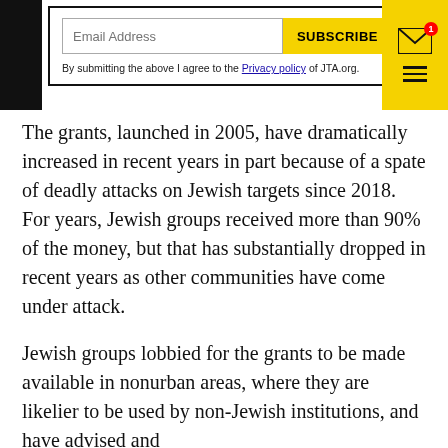Email Address | SUBSCRIBE | By submitting the above I agree to the Privacy policy of JTA.org.
The grants, launched in 2005, have dramatically increased in recent years in part because of a spate of deadly attacks on Jewish targets since 2018. For years, Jewish groups received more than 90% of the money, but that has substantially dropped in recent years as other communities have come under attack.
Jewish groups lobbied for the grants to be made available in nonurban areas, where they are likelier to be used by non-Jewish institutions, and have advised and